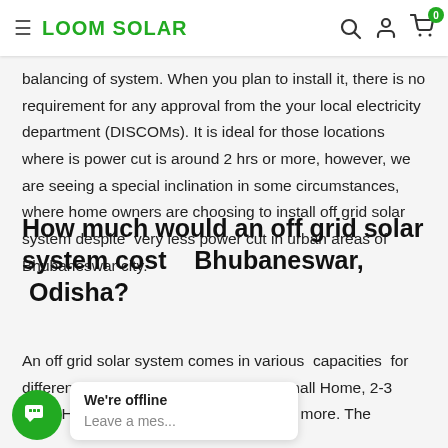LOOM SOLAR
balancing of system. When you plan to install it, there is no requirement for any approval from the your local electricity department (DISCOMs). It is ideal for those locations where is power cut is around 2 hrs or more, however, we are seeing a special inclination in some circumstances, where home owners are choosing to install off grid solar system despite very less power cut in urban areas of Bhubaneswar city.
How much would an off grid solar system cost Bhubaneswar, Odisha?
An off grid solar system comes in various capacities for different types of locations, such as, Small Home, 2-3 Floor Houses, Schools, Shopping mall, Warehouses, and more. The